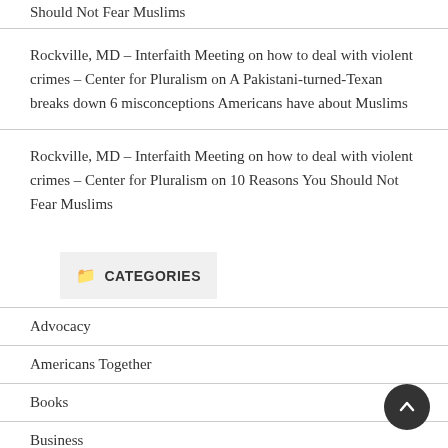Should Not Fear Muslims
Rockville, MD – Interfaith Meeting on how to deal with violent crimes – Center for Pluralism on A Pakistani-turned-Texan breaks down 6 misconceptions Americans have about Muslims
Rockville, MD – Interfaith Meeting on how to deal with violent crimes – Center for Pluralism on 10 Reasons You Should Not Fear Muslims
CATEGORIES
Advocacy
Americans Together
Books
Business